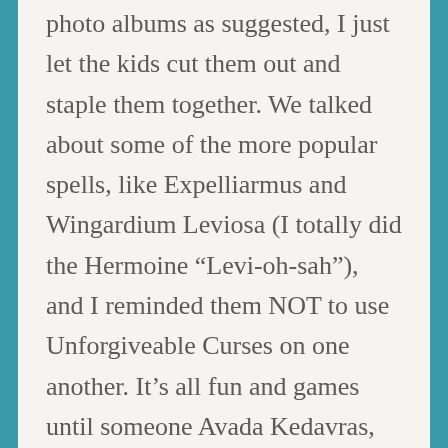photo albums as suggested, I just let the kids cut them out and staple them together. We talked about some of the more popular spells, like Expelliarmus and Wingardium Leviosa (I totally did the Hermoine “Levi-oh-sah”), and I reminded them NOT to use Unforgiveable Curses on one another. It’s all fun and games until someone Avada Kedavras, you know. Day One at Hogwarts was a success.